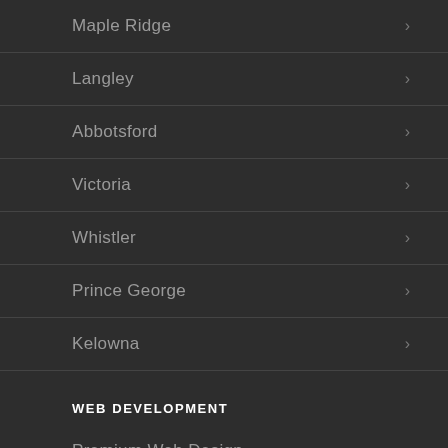Maple Ridge
Langley
Abbotsford
Victoria
Whistler
Prince George
Kelowna
WEB DEVELOPMENT
Premium Web Design